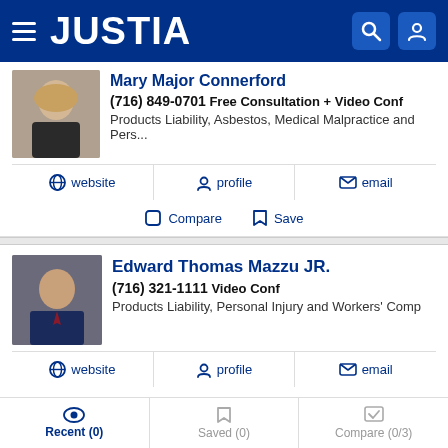JUSTIA
Mary Major Connerford
(716) 849-0701 Free Consultation + Video Conf
Products Liability, Asbestos, Medical Malpractice and Pers...
website | profile | email
Compare | Save
Edward Thomas Mazzu JR.
(716) 321-1111 Video Conf
Products Liability, Personal Injury and Workers' Comp
website | profile | email
Compare | Save
Recent (0) | Saved (0) | Compare (0/3)